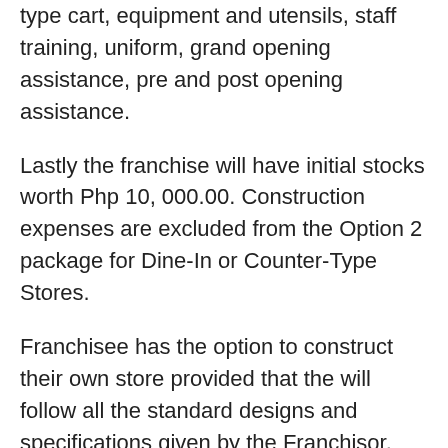type cart, equipment and utensils, staff training, uniform, grand opening assistance, pre and post opening assistance.
Lastly the franchise will have initial stocks worth Php 10, 000.00. Construction expenses are excluded from the Option 2 package for Dine-In or Counter-Type Stores.
Franchisee has the option to construct their own store provided that the will follow all the standard designs and specifications given by the Franchisor. Franchisee can also ask the Franchisor to construct the place but the price will vary depending on the size of the Franchisee's space. Other benefits for I Love Milk Tea's franchise are comprehensive training, proven